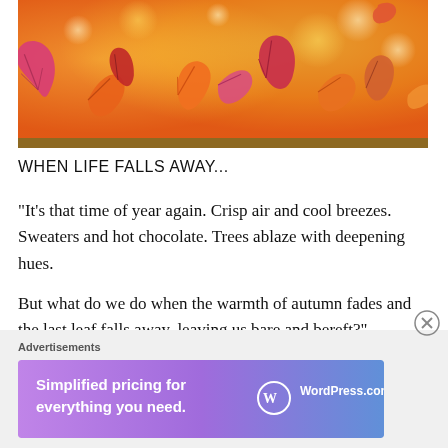[Figure (photo): Autumn fall leaves in warm orange, red, pink and yellow colors against a bright bokeh background]
WHEN LIFE FALLS AWAY...
“It’s that time of year again. Crisp air and cool breezes. Sweaters and hot chocolate. Trees ablaze with deepening hues.

But what do we do when the warmth of autumn fades and the last leaf falls away, leaving us bare and bereft?”
Advertisements
[Figure (screenshot): WordPress.com advertisement banner: ‘Simplified pricing for everything you need.’ with WordPress.com logo on a purple-to-blue gradient background]